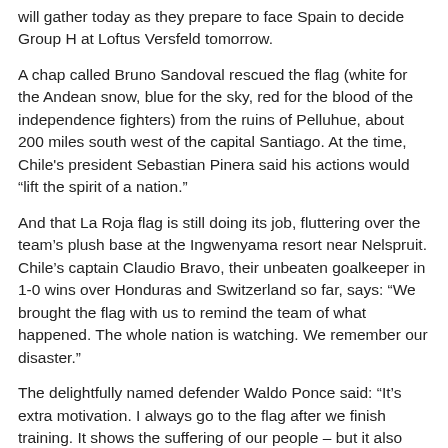will gather today as they prepare to face Spain to decide Group H at Loftus Versfeld tomorrow.
A chap called Bruno Sandoval rescued the flag (white for the Andean snow, blue for the sky, red for the blood of the independence fighters) from the ruins of Pelluhue, about 200 miles south west of the capital Santiago. At the time, Chile's president Sebastian Pinera said his actions would “lift the spirit of a nation.”
And that La Roja flag is still doing its job, fluttering over the team’s plush base at the Ingwenyama resort near Nelspruit. Chile’s captain Claudio Bravo, their unbeaten goalkeeper in 1-0 wins over Honduras and Switzerland so far, says: “We brought the flag with us to remind the team of what happened. The whole nation is watching. We remember our disaster.”
The delightfully named defender Waldo Ponce said: “It’s extra motivation. I always go to the flag after we finish training. It shows the suffering of our people – but it also reminds us we can bring a little joy after what happened.”